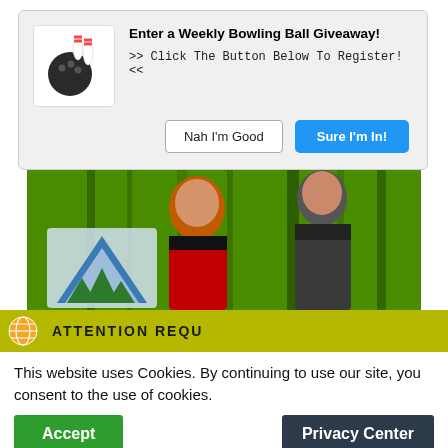[Figure (screenshot): Bowling ball giveaway popup dialog with bowling ball and pins icon, title 'Enter a Weekly Bowling Ball Giveaway!', subtitle '>> Click The Button Below To Register! <<', and two buttons: 'Nah I'm Good' and 'Sure I'm In!']
[Figure (photo): Two male bowlers standing in front of a bright green background with a bowling alley logo. One wearing red and black, one wearing dark plaid shirt.]
[Figure (screenshot): Yellow/olive attention bar with globe icon and text 'ATTENTION REQU...' (truncated)]
This website uses Cookies. By continuing to use our site, you consent to the use of cookies.
Accept    Privacy Center
Bowling Telecast